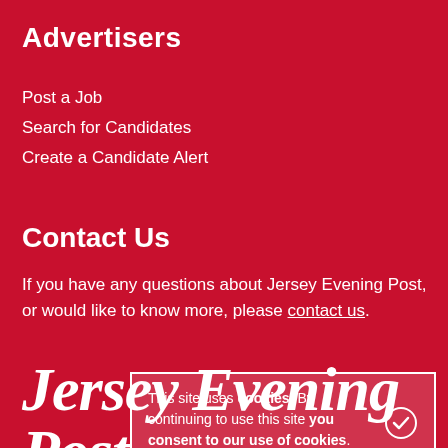Advertisers
Post a Job
Search for Candidates
Create a Candidate Alert
Contact Us
If you have any questions about Jersey Evening Post, or would like to know more, please contact us.
[Figure (logo): Jersey Evening Post logo in large italic white serif font]
This site uses cookies. By continuing to use this site you consent to our use of cookies.